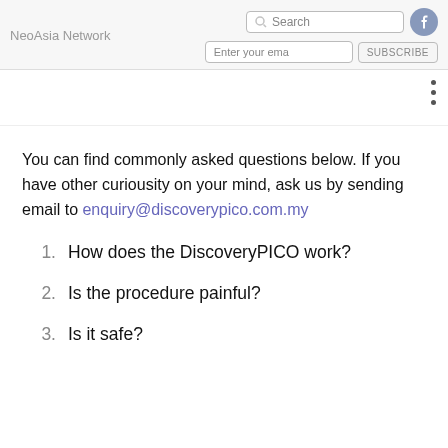NeoAsia Network
You can find commonly asked questions below. If you have other curiousity on your mind, ask us by sending email to enquiry@discoverypico.com.my
1. How does the DiscoveryPICO work?
2. Is the procedure painful?
3. Is it safe?